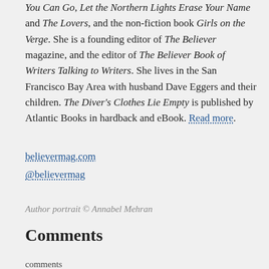You Can Go, Let the Northern Lights Erase Your Name and The Lovers, and the non-fiction book Girls on the Verge. She is a founding editor of The Believer magazine, and the editor of The Believer Book of Writers Talking to Writers. She lives in the San Francisco Bay Area with husband Dave Eggers and their children. The Diver's Clothes Lie Empty is published by Atlantic Books in hardback and eBook. Read more.
believermag.com
@believermag
Author portrait © Annabel Mehran
Comments
comments